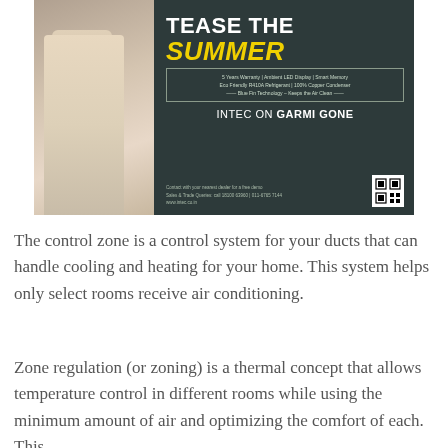[Figure (advertisement): INTEC air conditioner advertisement with 'TEASE THE SUMMER' headline in white and yellow, featuring a woman in white pants, product features listed, and 'INTEC ON GARMI GONE' branding on dark teal background]
The control zone is a control system for your ducts that can handle cooling and heating for your home. This system helps only select rooms receive air conditioning.
Zone regulation (or zoning) is a thermal concept that allows temperature control in different rooms while using the minimum amount of air and optimizing the comfort of each. This